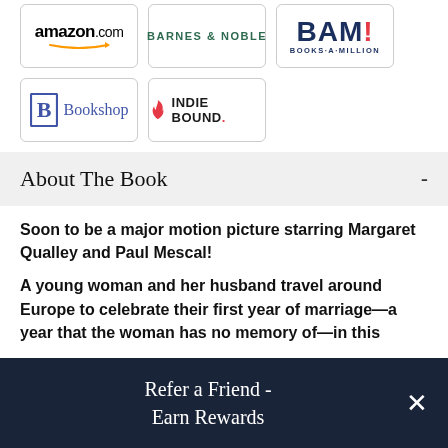[Figure (logo): Amazon.com logo with orange smile arrow]
[Figure (logo): Barnes & Noble logo in green text]
[Figure (logo): BAM! Books-A-Million logo in navy]
[Figure (logo): Bookshop logo with blue B icon]
[Figure (logo): IndieBound logo with flame icon]
About The Book
Soon to be a major motion picture starring Margaret Qualley and Paul Mescal!
A young woman and her husband travel around Europe to celebrate their first year of marriage—a year that the woman has no memory of—in this
Refer a Friend - Earn Rewards